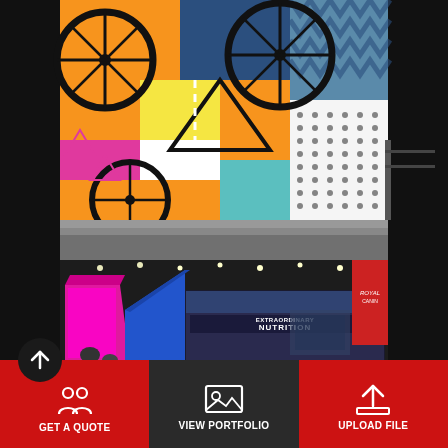[Figure (photo): Colorful bicycle-themed mural wall at a trade show or retail display, featuring bold graphic illustrations of bikes, geometric shapes in orange, pink, blue, teal, and white colors with dotted patterns. A gray counter or table edge is visible in the foreground.]
[Figure (photo): Trade show floor photo showing a booth with a large magenta/blue angular display structure, LED video wall showing 'EXTRAORDINARY NUTRITION' text, ceiling lights of convention center, Royal Canin banner visible in background.]
GET A QUOTE
VIEW PORTFOLIO
UPLOAD FILE